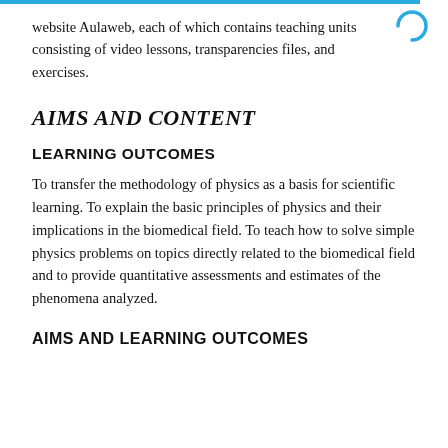website Aulaweb, each of which contains teaching units consisting of video lessons, transparencies files, and exercises.
AIMS AND CONTENT
LEARNING OUTCOMES
To transfer the methodology of physics as a basis for scientific learning. To explain the basic principles of physics and their implications in the biomedical field. To teach how to solve simple physics problems on topics directly related to the biomedical field and to provide quantitative assessments and estimates of the phenomena analyzed.
AIMS AND LEARNING OUTCOMES